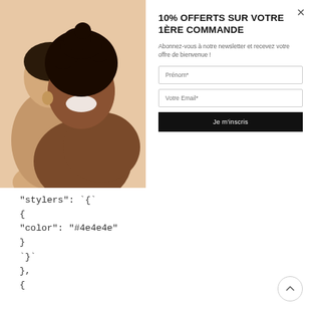[Figure (photo): Two women smiling, one dark-skinned with curly hair in foreground, one lighter-skinned behind, against a warm beige background]
10% OFFERTS SUR VOTRE 1ÈRE COMMANDE
Abonnez-vous à notre newsletter et recevez votre offre de bienvenue !
Prénom*
Votre Email*
Je m'inscris
"stylers": `{
{
"color": "#4e4e4e"
}
`}`
},
{